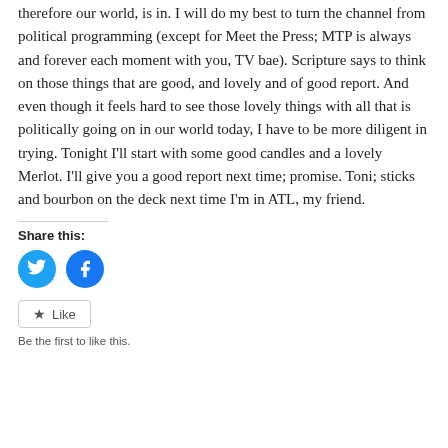therefore our world, is in. I will do my best to turn the channel from political programming (except for Meet the Press; MTP is always and forever each moment with you, TV bae). Scripture says to think on those things that are good, and lovely and of good report. And even though it feels hard to see those lovely things with all that is politically going on in our world today, I have to be more diligent in trying. Tonight I'll start with some good candles and a lovely Merlot. I'll give you a good report next time; promise. Toni; sticks and bourbon on the deck next time I'm in ATL, my friend.
Share this:
[Figure (infographic): Twitter and Facebook share buttons as blue circular icons]
[Figure (infographic): Like button with star icon]
Be the first to like this.